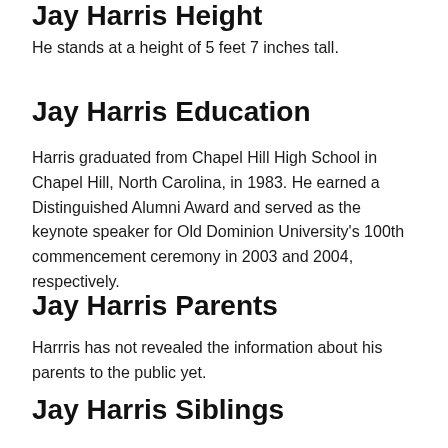Jay Harris Height
He stands at a height of 5 feet 7 inches tall.
Jay Harris Education
Harris graduated from Chapel Hill High School in Chapel Hill, North Carolina, in 1983. He earned a Distinguished Alumni Award and served as the keynote speaker for Old Dominion University's 100th commencement ceremony in 2003 and 2004, respectively.
Jay Harris Parents
Harrris has not revealed the information about his parents to the public yet.
Jay Harris Siblings
It is not clear whether he has any siblings or not.